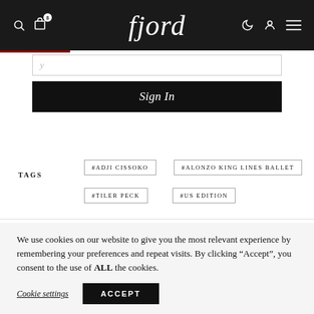fjord
Sign In
#ADJI CISSOKO
#ALONZO KING LINES BALLET
#TILER PECK
#US EDITION
We use cookies on our website to give you the most relevant experience by remembering your preferences and repeat visits. By clicking “Accept”, you consent to the use of ALL the cookies.
Cookie settings
ACCEPT